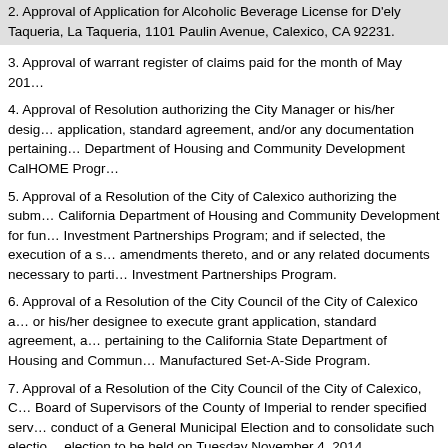2. Approval of Application for Alcoholic Beverage License for D'ely Taqueria, La Taqueria, 1101 Paulin Avenue, Calexico, CA 92231.
3. Approval of warrant register of claims paid for the month of May 2014.
4. Approval of Resolution authorizing the City Manager or his/her designee to execute application, standard agreement, and/or any documentation pertaining to the Department of Housing and Community Development CalHOME Program.
5. Approval of a Resolution of the City of Calexico authorizing the submission to the California Department of Housing and Community Development for funds under the Investment Partnerships Program; and if selected, the execution of a standard agreement, amendments thereto, and or any related documents necessary to participate in the Investment Partnerships Program.
6. Approval of a Resolution of the City Council of the City of Calexico authorizing the City Manager or his/her designee to execute grant application, standard agreement, and documentation pertaining to the California State Department of Housing and Community Development Manufactured Set-A-Side Program.
7. Approval of a Resolution of the City Council of the City of Calexico, Consenting the Board of Supervisors of the County of Imperial to render specified services relating to conduct of a General Municipal Election and to consolidate such election with the general election to be held on Tuesday November 4, 2014.
8. Approval of a Resolution of the City Council of the City of Calexico authorizing the City Manager or his/her designee to execute grant application, standard agreement, and documentation pertaining to the U.S. Department of Justice Office of the Community Oriented Policing COPS Hiring Program (CHP).